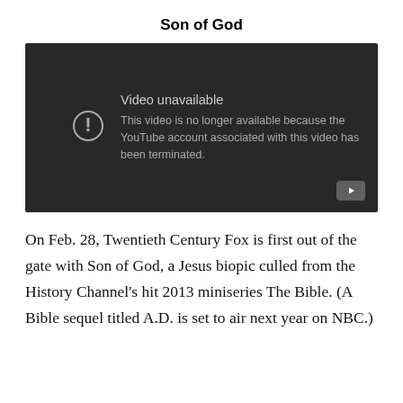Son of God
[Figure (screenshot): YouTube video embed showing 'Video unavailable' error message. Text reads: 'This video is no longer available because the YouTube account associated with this video has been terminated.']
On Feb. 28, Twentieth Century Fox is first out of the gate with Son of God, a Jesus biopic culled from the History Channel's hit 2013 miniseries The Bible. (A Bible sequel titled A.D. is set to air next year on NBC.)